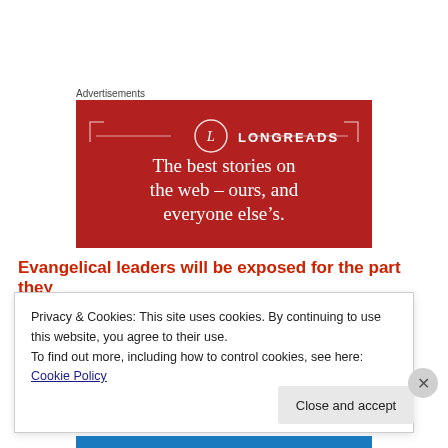Advertisements
[Figure (illustration): Longreads advertisement banner on red background with logo circle and tagline: The best stories on the web – ours, and everyone else's.]
Evangelical leaders will be exposed for the part they
Privacy & Cookies: This site uses cookies. By continuing to use this website, you agree to their use.
To find out more, including how to control cookies, see here: Cookie Policy